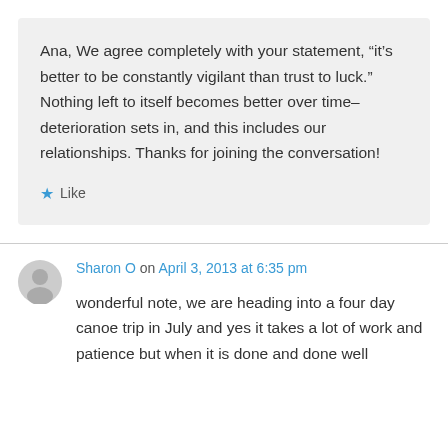Ana, We agree completely with your statement, “it’s better to be constantly vigilant than trust to luck.” Nothing left to itself becomes better over time–deterioration sets in, and this includes our relationships. Thanks for joining the conversation!
★ Like
Sharon O on April 3, 2013 at 6:35 pm
wonderful note, we are heading into a four day canoe trip in July and yes it takes a lot of work and patience but when it is done and done well